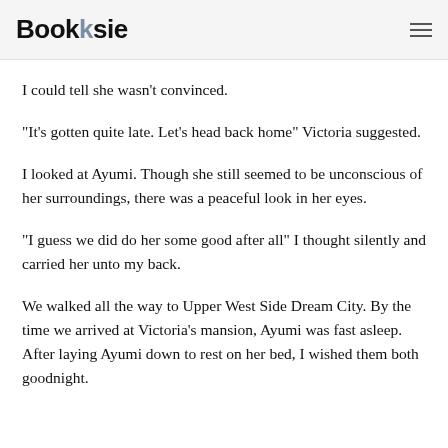Booksie
I could tell she wasn't convinced.
“It’s gotten quite late. Let’s head back home” Victoria suggested.
I looked at Ayumi. Though she still seemed to be unconscious of her surroundings, there was a peaceful look in her eyes.
“I guess we did do her some good after all” I thought silently and carried her unto my back.
We walked all the way to Upper West Side Dream City. By the time we arrived at Victoria’s mansion, Ayumi was fast asleep. After laying Ayumi down to rest on her bed, I wished them both goodnight.